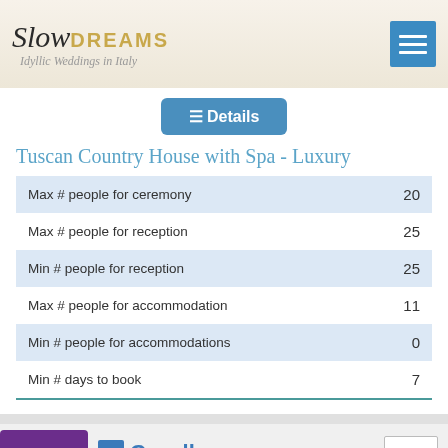Slow DREAMS — Idyllic Weddings in Italy
Details
Tuscan Country House with Spa - Luxury
|  |  |
| --- | --- |
| Max # people for ceremony | 20 |
| Max # people for reception | 25 |
| Min # people for reception | 25 |
| Max # people for accommodation | 11 |
| Min # people for accommodations | 0 |
| Min # days to book | 7 |
Top
Caselle
Edit